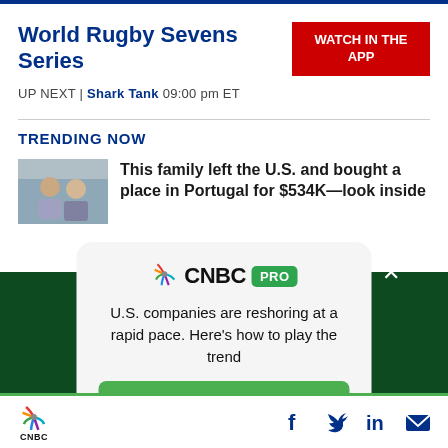World Rugby Sevens Series
WATCH IN THE APP
UP NEXT | Shark Tank 09:00 pm ET
TRENDING NOW
This family left the U.S. and bought a place in Portugal for $534K—look inside
[Figure (infographic): CNBC PRO subscription modal with peacock logo, headline about U.S. companies reshoring, and Subscribe Now button]
CNBC footer with social media icons: Facebook, Twitter, LinkedIn, Email